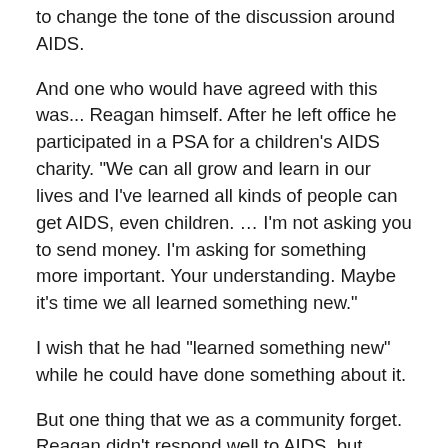to change the tone of the discussion around AIDS.
And one who would have agreed with this was... Reagan himself. After he left office he participated in a PSA for a children’s AIDS charity. “We can all grow and learn in our lives and I’ve learned all kinds of people can get AIDS, even children. … I’m not asking you to send money. I’m asking for something more important. Your understanding. Maybe it’s time we all learned something new.”
I wish that he had “learned something new” while he could have done something about it.
But one thing that we as a community forget. Reagan didn’t respond well to AIDS, but never did he campaign against our freedoms.
He was an old guy with old-fashioned notions about what was acceptable conversation. And most of his gay friends were from Hollywood or politics and deeply in the closet. When he thought of gay folks,